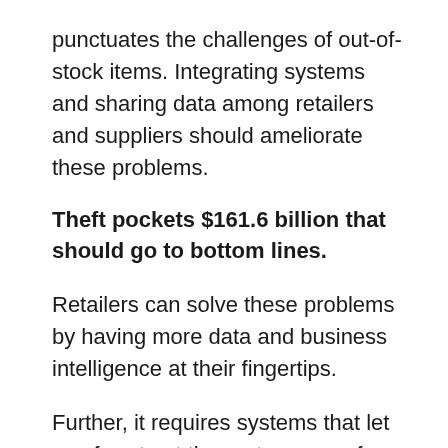punctuates the challenges of out-of-stock items. Integrating systems and sharing data among retailers and suppliers should ameliorate these problems.
Theft pockets $161.6 billion that should go to bottom lines.
Retailers can solve these problems by having more data and business intelligence at their fingertips.
Further, it requires systems that let you ferret out the root causes of your inventory and data woes. Implementing a robust technology solution enables you to enact operational changes swiftly